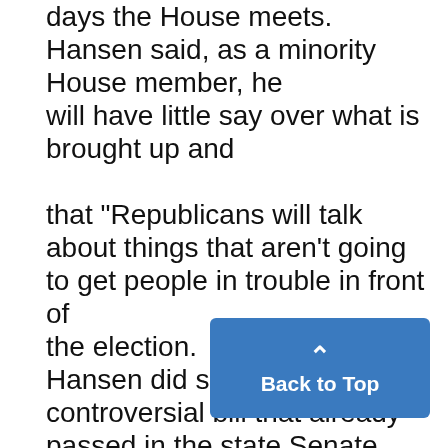days the House meets. Hansen said, as a minority House member, he will have little say over what is brought up and that "Republicans will talk about things that aren't going to get people in trouble in front of the election. Hansen did speak of one controversial bill that already passed in the state Senate. Democ- rats are expected to support a